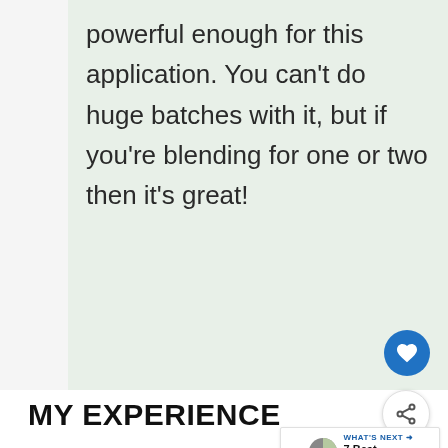powerful enough for this application. You can't do huge batches with it, but if you're blending for one or two then it's great!
MY EXPERIENCE
Almond milk (or any nut milk for matter) is not as difficult to make in a